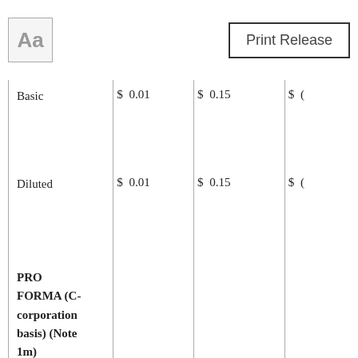[Figure (other): Aa font/typography icon box]
Print Release
| Basic | $ 0.01 | $ 0.15 | $ ( |
| Diluted | $ 0.01 | $ 0.15 | $ ( |
| PRO FORMA (C-corporation basis) (Note 1m) |  |  |  |
| Income tax expense | $ 48,468 | $ 137,750 | $ 2 |